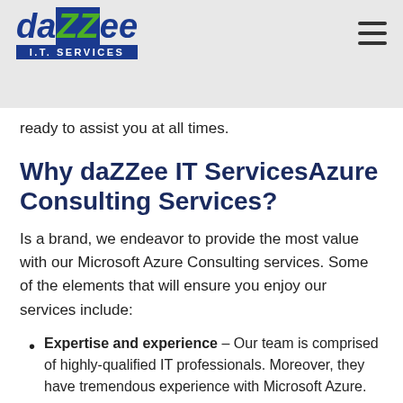daZZee I.T. Services logo and navigation
ready to assist you at all times.
Why daZZee IT ServicesAzure Consulting Services?
Is a brand, we endeavor to provide the most value with our Microsoft Azure Consulting services. Some of the elements that will ensure you enjoy our services include:
Expertise and experience – Our team is comprised of highly-qualified IT professionals. Moreover, they have tremendous experience with Microsoft Azure.
Lower migration costs – We'll design a robust yet pragmatic Azure migration strategy to minimize